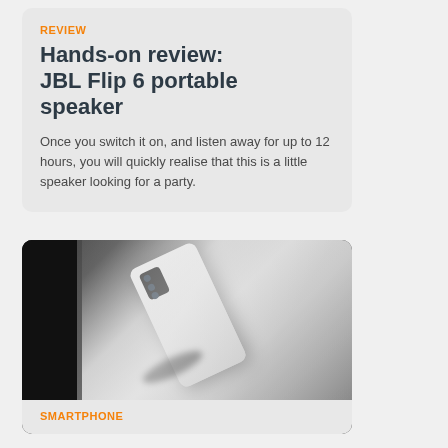REVIEW
Hands-on review: JBL Flip 6 portable speaker
Once you switch it on, and listen away for up to 12 hours, you will quickly realise that this is a little speaker looking for a party.
[Figure (photo): A white smartphone (back view) lying at an angle on a silver/grey reflective surface, with a dark background on the left side. The phone has a black camera module in the upper left corner of its back.]
SMARTPHONE